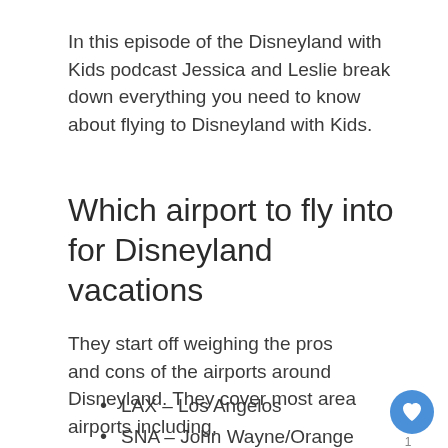In this episode of the Disneyland with Kids podcast Jessica and Leslie break down everything you need to know about flying to Disneyland with Kids.
Which airport to fly into for Disneyland vacations
They start off weighing the pros and cons of the airports around Disneyland. They cover most area airports including,
LAX – Los Angelos
SNA – John Wayne/Orange County
LGB – Long Beach
BUR – Burbank